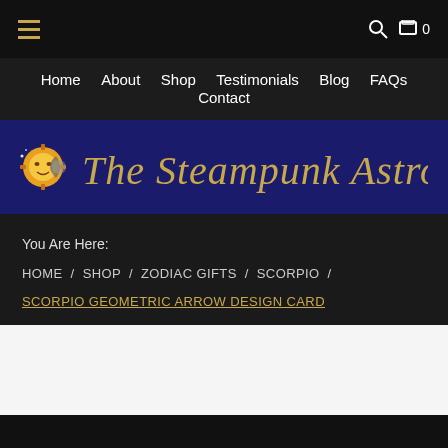☰ [hamburger menu] | 🔍 🛒 0
Home  About  Shop  Testimonials  Blog  FAQs  Contact
[Figure (logo): The Steampunk Astrologer logo on dark blue background with sun/moon gear icon]
You Are Here:
HOME / SHOP / ZODIAC GIFTS / SCORPIO /
SCORPIO GEOMETRIC ARROW DESIGN CARD